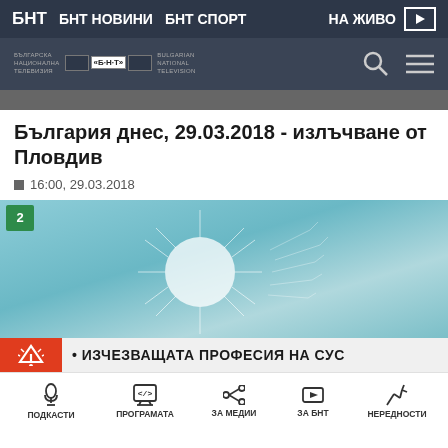БНТ  БНТ НОВИНИ  БНТ СПОРТ  НА ЖИВО
[Figure (screenshot): BNT Bulgarian National Television logo bar with search and menu icons]
[Figure (screenshot): Thumbnail strip showing partial video image]
България днес, 29.03.2018 - излъчване от Пловдив
16:00, 29.03.2018
[Figure (photo): Video thumbnail showing dandelion seeds on teal/blue background with BNT 2 channel badge in top left corner]
• ИЗЧЕЗВАЩАТА ПРОФЕСИЯ НА СУС
ПОДКАСТИ  ПРОГРАМАТА  ЗА МЕДИИ  ЗА БНТ  НЕРЕДНОСТИ